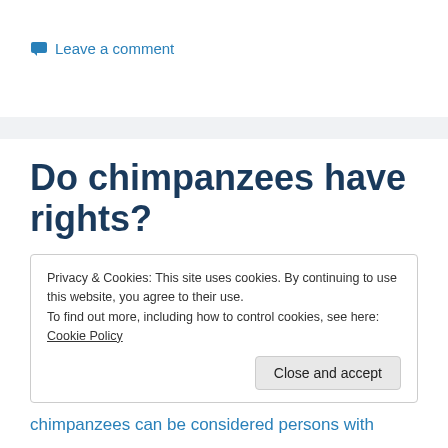Leave a comment
Do chimpanzees have rights?
Privacy & Cookies: This site uses cookies. By continuing to use this website, you agree to their use.
To find out more, including how to control cookies, see here: Cookie Policy
Close and accept
chimpanzees can be considered persons with